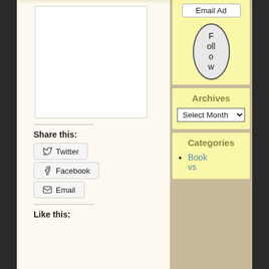[Figure (other): White blank image placeholder with light border]
Share this:
Twitter
Facebook
Email
Like this:
[Figure (other): Email Ad button widget in yellow sidebar]
[Figure (other): Follow oval button widget in yellow sidebar]
Archives
Select Month
Categories
Book vs